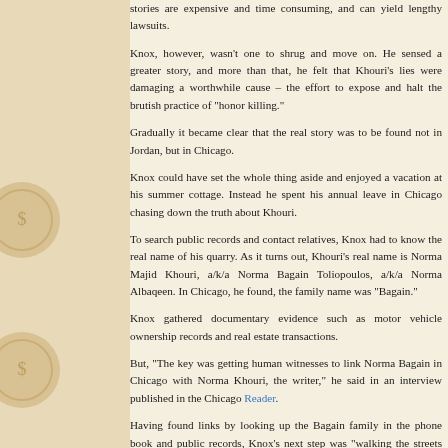stories are expensive and time consuming, and can yield lengthy lawsuits.
Knox, however, wasn't one to shrug and move on. He sensed a greater story, and more than that, he felt that Khouri's lies were damaging a worthwhile cause – the effort to expose and halt the brutish practice of "honor killing."
Gradually it became clear that the real story was to be found not in Jordan, but in Chicago.
Knox could have set the whole thing aside and enjoyed a vacation at his summer cottage. Instead he spent his annual leave in Chicago chasing down the truth about Khouri.
To search public records and contact relatives, Knox had to know the real name of his quarry. As it turns out, Khouri's real name is Norma Majid Khouri, a/k/a Norma Bagain Toliopoulos, a/k/a Norma Albaqeen. In Chicago, he found, the family name was "Bagain."
Knox gathered documentary evidence such as motor vehicle ownership records and real estate transactions.
But, "The key was getting human witnesses to link Norma Bagain in Chicago with Norma Khouri, the writer," he said in an interview published in the Chicago Reader.
Having found links by looking up the Bagain family in the phone book and public records, Knox's next step was "walking the streets and knocking on